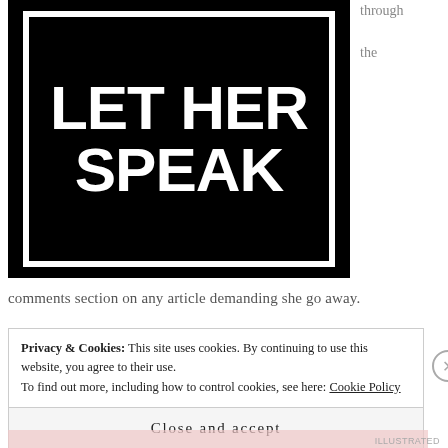[Figure (illustration): Black background image with white bold text reading 'LET HER SPEAK' inside a white border rectangle]
through the
comments section on any article demanding she go away.
Privacy & Cookies: This site uses cookies. By continuing to use this website, you agree to their use.
To find out more, including how to control cookies, see here: Cookie Policy
Close and accept